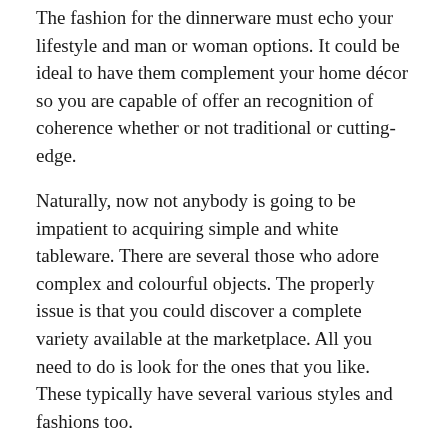The fashion for the dinnerware must echo your lifestyle and man or woman options. It could be ideal to have them complement your home décor so you are capable of offer an recognition of coherence whether or not traditional or cutting-edge.
Naturally, now not anybody is going to be impatient to acquiring simple and white tableware. There are several those who adore complex and colourful objects. The properly issue is that you could discover a complete variety available at the marketplace. All you need to do is look for the ones that you like. These typically have several various styles and fashions too.
When getting your tableware, ensure to check serving tray out the excellent of the object first. Most objects coming from essential providers will generally have a mark of exceptional for that piece. Verifying for bubbles about the glaze is also an indicator of high nice.